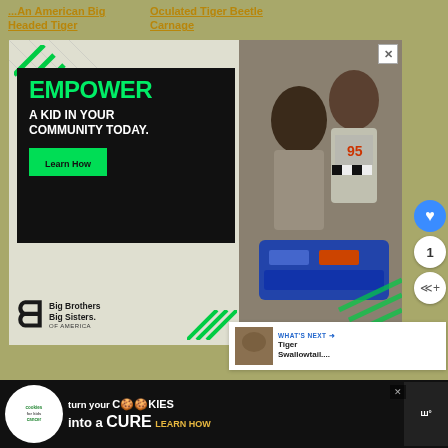...An American Big Headed Tiger
Oculated Tiger Beetle Carnage
[Figure (screenshot): Big Brothers Big Sisters of America advertisement with text 'EMPOWER A KID IN YOUR COMMUNITY TODAY.' and 'Learn How' button, showing two people working on a robotics project, with heart/share action buttons on right side]
WHAT'S NEXT → Tiger Swallowtail....
[Figure (screenshot): Cookies for Kids Cancer advertisement: 'turn your Cookies into a CURE LEARN HOW' with cookies logo and Walgreens branding]